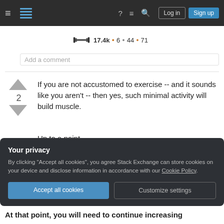Stack Exchange navigation bar with Log in and Sign up buttons
17.4k • 6 • 44 • 71
Add a comment
If you are not accustomed to exercise -- and it sounds like you aren't -- then yes, such minimal activity will build muscle.
Up to a point.
At that point, doing 20 pushups will not make you stronger; it will make you good at doing 20 pushups.
Your privacy
By clicking "Accept all cookies", you agree Stack Exchange can store cookies on your device and disclose information in accordance with our Cookie Policy.
Accept all cookies  Customize settings
At that point, you will need to continue increasing